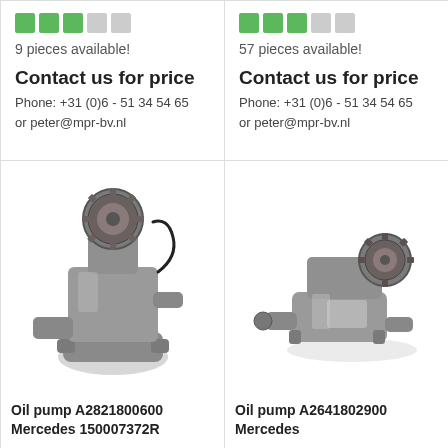[Figure (other): Availability bar with 3 green squares and 2 gray squares, text '9 pieces available!', contact info 'Contact us for price', 'Phone: +31 (0)6 - 51 34 54 65 or peter@mpr-bv.nl']
[Figure (other): Availability bar with 3 green squares and 2 gray squares, text '57 pieces available!', contact info 'Contact us for price', 'Phone: +31 (0)6 - 51 34 54 65 or peter@mpr-bv.nl']
[Figure (photo): Photo of an oil pump, part number A2821800600, Mercedes 150007372R]
Oil pump A2821800600
Mercedes 150007372R
[Figure (photo): Photo of an oil pump, part number A2641802900, Mercedes]
Oil pump A2641802900
Mercedes